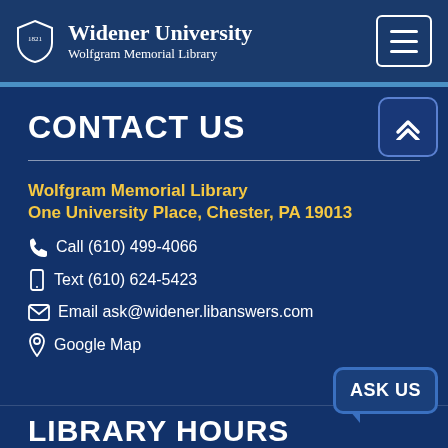Widener University Wolfgram Memorial Library
CONTACT US
Wolfgram Memorial Library
One University Place, Chester, PA 19013
Call (610) 499-4066
Text (610) 624-5423
Email ask@widener.libanswers.com
Google Map
LIBRARY HOURS